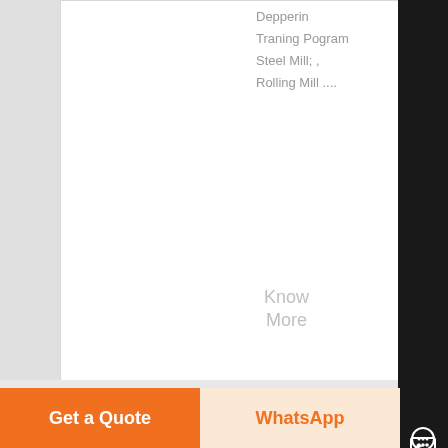Depperin
Traning Pogram
Steel Mill; ,
Rolling Mill ....
Know
More
[Figure (photo): Aerial or top-down photo of a large circular industrial tank or basin, likely part of a steel rolling mill facility, showing structural steel framework and muddy/brown liquid.]
Rebar Steel Rolling Mill Bearing, Rebar Steel Rolling Mill ,
Rebar Steel
Rolling Mill
Get a Quote
WhatsApp